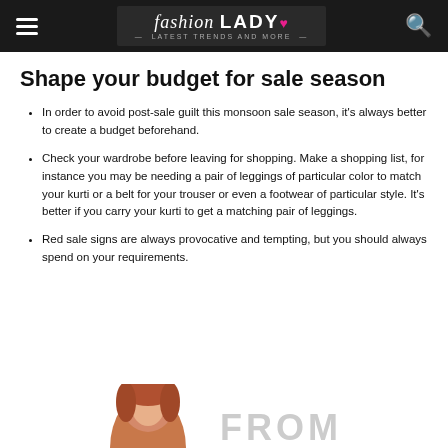Fashion LADY - Latest Trends and More
Shape your budget for sale season
In order to avoid post-sale guilt this monsoon sale season, it's always better to create a budget beforehand.
Check your wardrobe before leaving for shopping. Make a shopping list, for instance you may be needing a pair of leggings of particular color to match your kurti or a belt for your trouser or even a footwear of particular style. It's better if you carry your kurti to get a matching pair of leggings.
Red sale signs are always provocative and tempting, but you should always spend on your requirements.
[Figure (photo): Partial view of a woman with red/auburn hair, bottom of page strip showing 'FROM' text in large letters]